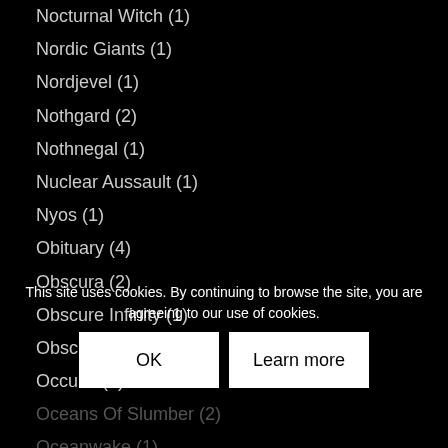Nocturnal Witch (1)
Nordic Giants (1)
Nordjevel (1)
Nothgard (2)
Nothnegal (1)
Nuclear Aussault (1)
Nyos (1)
Obituary (4)
Obscura (2)
Obscure Infinity (1)
Obscurity (2)
Occulta (2)
Oceans Of Slumber (2)
Oceanwake (1)
October Tide
Odious (1)
This site uses cookies. By continuing to browse the site, you are agreeing to our use of cookies.